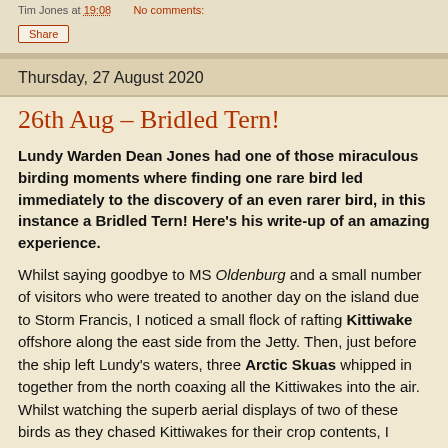Tim Jones at 19:08    No comments:
Share
Thursday, 27 August 2020
26th Aug – Bridled Tern!
Lundy Warden Dean Jones had one of those miraculous birding moments where finding one rare bird led immediately to the discovery of an even rarer bird, in this instance a Bridled Tern! Here's his write-up of an amazing experience.
Whilst saying goodbye to MS Oldenburg and a small number of visitors who were treated to another day on the island due to Storm Francis, I noticed a small flock of rafting Kittiwake offshore along the east side from the Jetty. Then, just before the ship left Lundy's waters, three Arctic Skuas whipped in together from the north coaxing all the Kittiwakes into the air. Whilst watching the superb aerial displays of two of these birds as they chased Kittiwakes for their crop contents, I